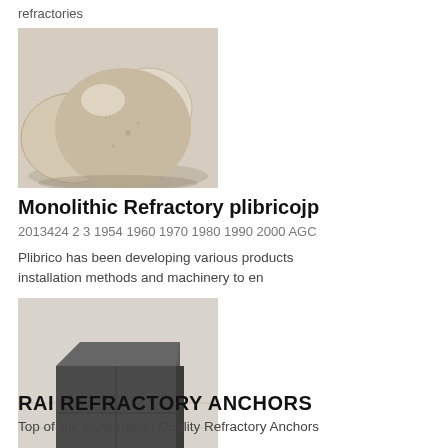refractories
[Figure (photo): Photo of light-colored oval ceramic or refractory balls/pellets stacked together against a neutral background]
Monolithic Refractory plibricojp
2013424 2 3 1954 1960 1970 1980 1990 2000 AGC
Plibrico has been developing various products installation methods and machinery to en
[Figure (photo): Photo of dark gray rectangular refractory blocks or carbon/graphite bricks stacked on a light tile floor]
RAI REFRACTORY ANCHORS
Top of line Guaranteed Quality Refractory Anchors